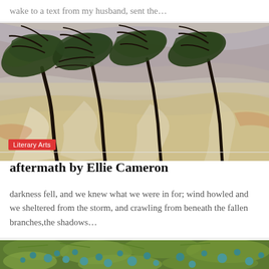wake to a text from my husband, sent the…
[Figure (illustration): An expressionist oil painting of trees bending in a storm, with dark trunks and green foliage swept horizontally by wind, painted with broad brushstrokes in greens, grays, browns, and whites.]
Literary Arts
aftermath by Ellie Cameron
darkness fell, and we knew what we were in for; wind howled and we sheltered from the storm, and crawling from beneath the fallen branches,the shadows…
[Figure (photo): Close-up photograph of green leaves and small teal-blue berries on branches, with a blurred background of more leaves and berries.]